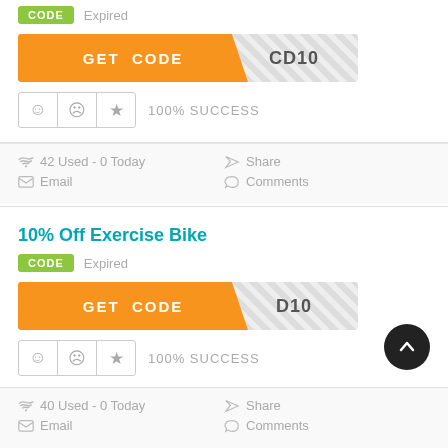[Figure (screenshot): GET CODE button with orange background and diagonal reveal showing 'CD10']
100% SUCCESS
42 Used - 0 Today   Share   Email   Comments
10% Off Exercise Bike
CODE   Expired
[Figure (screenshot): GET CODE button with orange background and diagonal reveal showing 'D10']
100% SUCCESS
40 Used - 0 Today   Share   Email   Comments